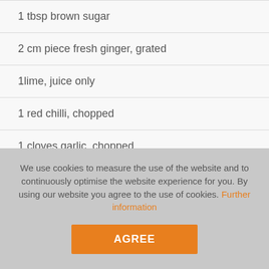1 tbsp brown sugar
2 cm piece fresh ginger, grated
1lime, juice only
1 red chilli, chopped
1 cloves garlic, chopped
We use cookies to measure the use of the website and to continuously optimise the website experience for you. By using our website you agree to the use of cookies. Further information
AGREE